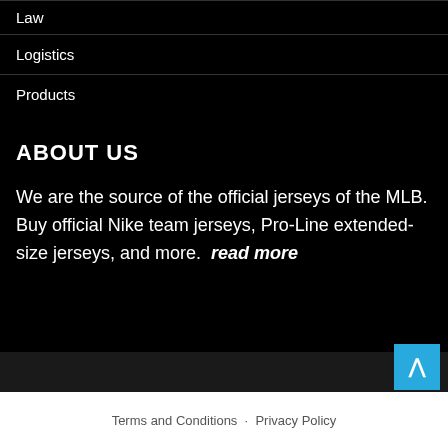Law
Logistics
Products
ABOUT US
We are the source of the official jerseys of the MLB. Buy official Nike team jerseys, Pro-Line extended-size jerseys, and more. read more
Terms and Conditions  ·  Privacy Policy